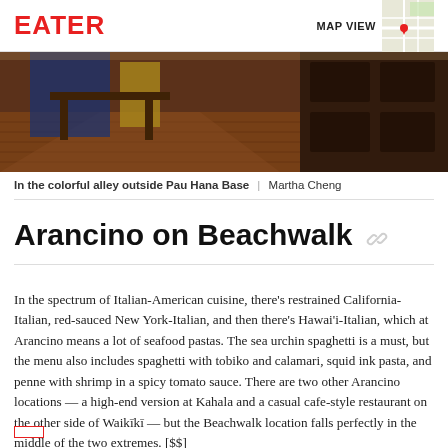EATER | MAP VIEW
[Figure (photo): Interior photo of a restaurant with warm wood floors and shelving, colorful alley outside Pau Hana Base]
In the colorful alley outside Pau Hana Base  |  Martha Cheng
Arancino on Beachwalk
In the spectrum of Italian-American cuisine, there's restrained California-Italian, red-sauced New York-Italian, and then there's Hawai'i-Italian, which at Arancino means a lot of seafood pastas. The sea urchin spaghetti is a must, but the menu also includes spaghetti with tobiko and calamari, squid ink pasta, and penne with shrimp in a spicy tomato sauce. There are two other Arancino locations — a high-end version at Kahala and a casual cafe-style restaurant on the other side of Waikīkī — but the Beachwalk location falls perfectly in the middle of the two extremes. [$$]